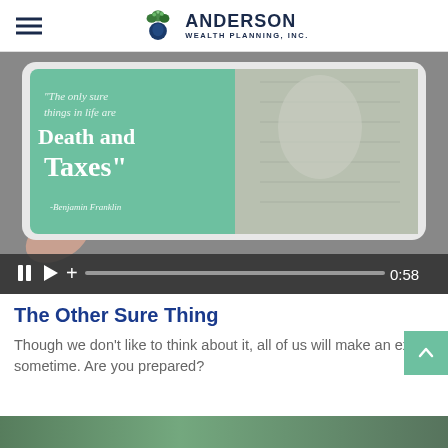ANDERSON WEALTH PLANNING, INC.
[Figure (screenshot): Video thumbnail showing a tablet displaying a quote: “The only sure things in life are Death and Taxes” - Benjamin Franklin, with a portrait of Benjamin Franklin on the right side of the tablet screen. Video controls bar shows pause, play, volume icons and timestamp 0:58.]
The Other Sure Thing
Though we don’t like to think about it, all of us will make an exit sometime. Are you prepared?
[Figure (photo): Partial view of another image at the bottom of the page, showing a green/outdoor scene.]